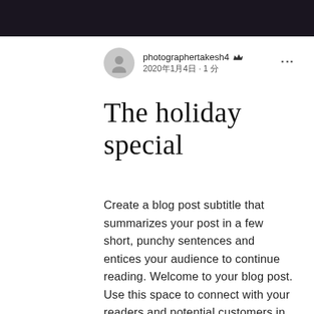[Figure (photo): Dark header image with a nighttime or dark background at the top of the blog post page]
photographertakesh4 👑
2020年1月4日・1 分
The holiday special
Create a blog post subtitle that summarizes your post in a few short, punchy sentences and entices your audience to continue reading. Welcome to your blog post. Use this space to connect with your readers and potential customers in a way that's current and interesting. Think of it as an ongoing conversation where you can share updates about business, trends,